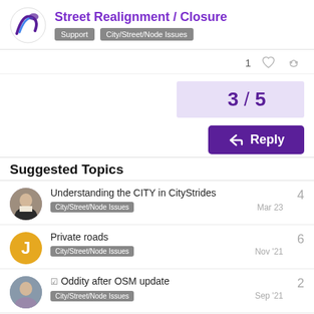Street Realignment / Closure — Support, City/Street/Node Issues
1 (like) (link)
3 / 5
Reply
Suggested Topics
Understanding the CITY in CityStrides — City/Street/Node Issues — Mar 23 — 4 replies
Private roads — City/Street/Node Issues — Nov '21 — 6 replies
☑ Oddity after OSM update — City/Street/Node Issues — Sep '21 — 2 replies
☑ Adding nested cities to Stockholm